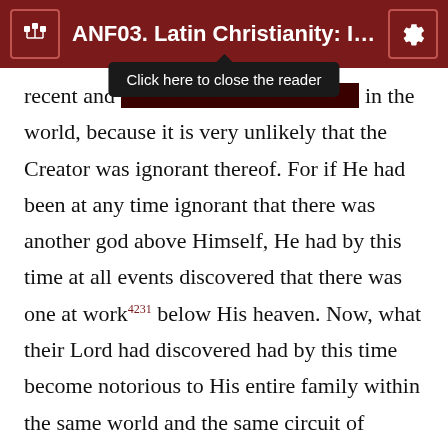ANF03. Latin Christianity: Its F…
recent and unknown god was working in the world, because it is very unlikely that the Creator was ignorant thereof. For if He had been at any time ignorant that there was another god above Himself, He had by this time at all events discovered that there was one at work4231 below His heaven. Now, what their Lord had discovered had by this time become notorious to His entire family within the same world and the same circuit of heaven, in which the strange deity dwelt and acted.4232 As therefore both the Creator and His creatures4233 must have had knowledge of him, if he had been in